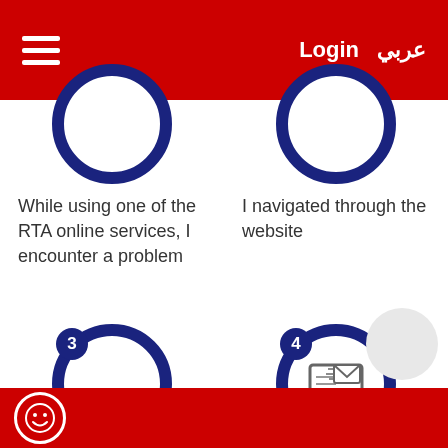Login  عربي
[Figure (illustration): Step 1 icon: circular blue ring, partially cropped at top]
While using one of the RTA online services, I encounter a problem
[Figure (illustration): Step 2 icon: circular blue ring, partially cropped at top]
I navigated through the website
[Figure (illustration): Step 3 icon: circular blue ring with badge number 3]
I find the support email ask@rta.ae
[Figure (illustration): Step 4 icon: circular blue ring with badge number 4, contains monitor with email/envelope icon]
I send my complain via email